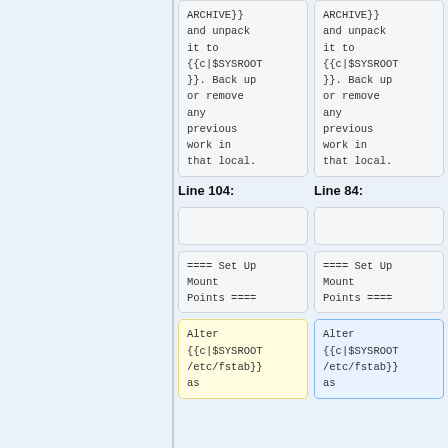ARCHIVE}} and unpack it to {{c|$SYSROOT}}. Back up or remove any previous work in that local.
ARCHIVE}} and unpack it to {{c|$SYSROOT}}. Back up or remove any previous work in that local.
Line 104:
Line 84:
==== Set Up Mount Points ====
==== Set Up Mount Points ====
Alter {{c|$SYSROOT/etc/fstab}} as
Alter {{c|$SYSROOT/etc/fstab}} as